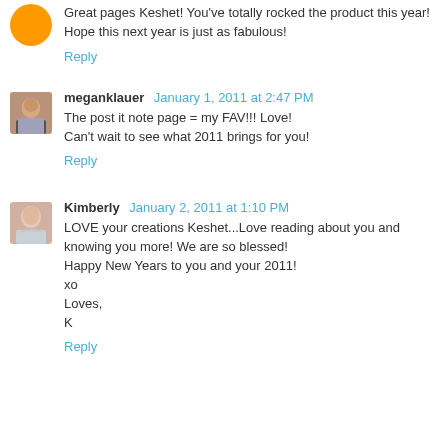Great pages Keshet! You've totally rocked the product this year! Hope this next year is just as fabulous!
Reply
meganklauer  January 1, 2011 at 2:47 PM
The post it note page = my FAV!!! Love!
Can't wait to see what 2011 brings for you!
Reply
Kimberly  January 2, 2011 at 1:10 PM
LOVE your creations Keshet...Love reading about you and knowing you more! We are so blessed!
Happy New Years to you and your 2011!
xo
Loves,
K
Reply